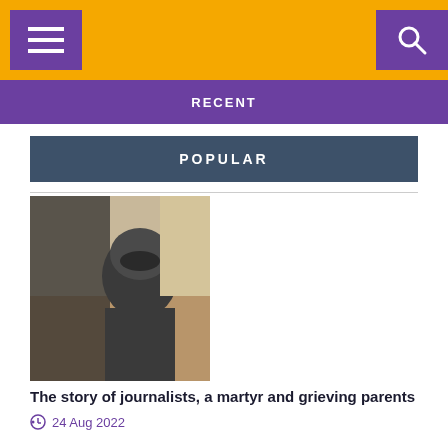RECENT
POPULAR
[Figure (photo): A military pilot or soldier wearing a flight helmet and tactical gear inside a helicopter cockpit, with a desert landscape visible in the background.]
The story of journalists, a martyr and grieving parents
24 Aug 2022
[Figure (photo): A blue Audi sports car driving on a road with an orange rocky hillside and blue sky in the background.]
Audi India announces price hike across model range
23 Aug 2022
[Figure (photo): Partial view of a green car at the bottom of the page.]